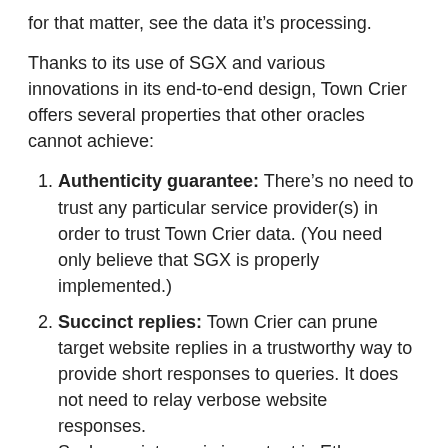for that matter, see the data it's processing.
Thanks to its use of SGX and various innovations in its end-to-end design, Town Crier offers several properties that other oracles cannot achieve:
Authenticity guarantee: There's no need to trust any particular service provider(s) in order to trust Town Crier data. (You need only believe that SGX is properly implemented.)
Succinct replies: Town Crier can prune target website replies in a trustworthy way to provide short responses to queries. It does not need to relay verbose website responses. Such succintness is important in Ethereum, for instance, where message length determines transaction costs.
Confidential queries: Town Crier can handle secret query data in a trustworthy way. This feature makes TC far more powerful and flexible